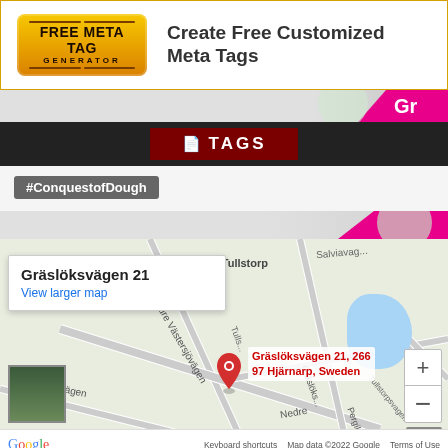[Figure (screenshot): Free Meta Tag Generator banner ad with logo and tagline 'Create Free Customized Meta Tags']
[Figure (screenshot): Section divider strip with grey gradient and pink/magenta accent on right showing partial text 'Gr']
TAGS
#ConquestofDough
[Figure (map): Google Maps embedded map showing Gräslöksvägen 21, 266 97 Hjärnarp, Sweden with red location pin, street names Nedre Västersjövägen, Salviavagen, Nedre, Pergil, Tullstorpsvägen, and nearby area Tullstorp. Map popup says 'Gräslöksvägen 21' and 'View larger map'. Bottom bar shows Google logo, Keyboard shortcuts, Map data ©2022 Google, Terms of Use.]
Gräslöksvägen 21, 26697 Hjärnarp, Sweden